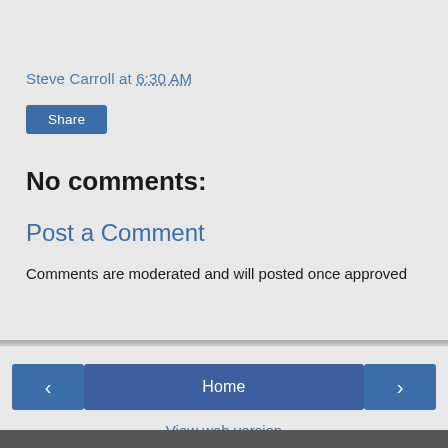Steve Carroll at 6:30 AM
Share
No comments:
Post a Comment
Comments are moderated and will posted once approved
‹
Home
›
View web version